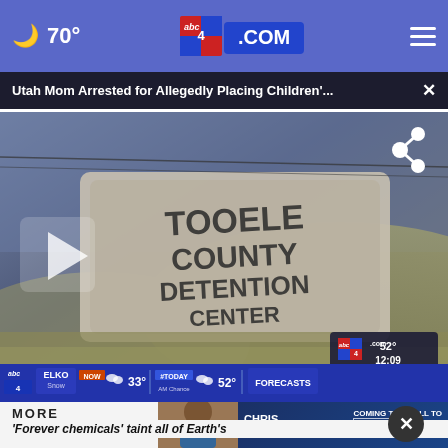🌙 70° | abc4.com | ☰
Utah Mom Arrested for Allegedly Placing Children'...
[Figure (screenshot): Video thumbnail showing Tooele County Detention Center sign with play button overlay. Weather ticker at bottom showing ELKO / Snow / 33° and AM Chance / 52° / FORECASTS. ABC4 watermark with 52° 12:09 in bottom right.]
MORE
[Figure (photo): Advertisement banner: Chris Cuomo photo with text CHRIS CUOMO COMING THIS FALL TO NEWSNATION FIND YOUR CHANNEL]
'Forever chemicals' taint all of Earth's